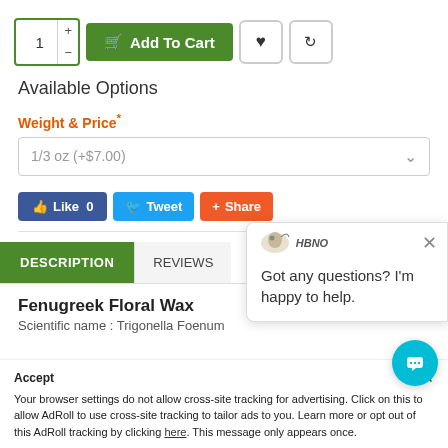[Figure (screenshot): Quantity selector with + and - buttons, Add To Cart green button, heart icon button, refresh icon button]
Available Options
Weight & Price*
1/3 oz (+$7.00)
[Figure (screenshot): Social sharing buttons: Like 0 (Facebook), Tweet (Twitter), Share (AddThis)]
[Figure (screenshot): Tab bar with DESCRIPTION active (green) and REVIEWS tab]
Fenugreek Floral Wax
Scientific name : Trigonella Foenum
[Figure (screenshot): HBNO logo with bird/animal graphic and text HBNO]
Got any questions? I'm happy to help.
Your browser settings do not allow cross-site tracking for advertising. Click on this to allow AdRoll to use cross-site tracking to tailor ads to you. Learn more or opt out of this AdRoll tracking by clicking here. This message only appears once.